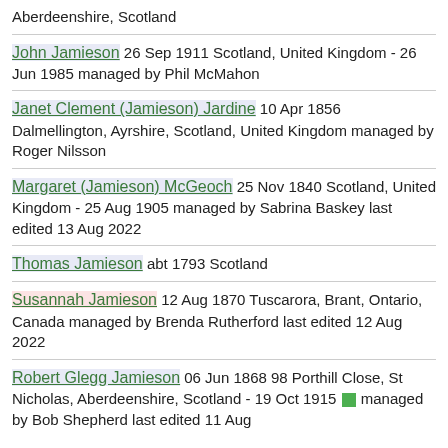Aberdeenshire, Scotland
John Jamieson 26 Sep 1911 Scotland, United Kingdom - 26 Jun 1985 managed by Phil McMahon
Janet Clement (Jamieson) Jardine 10 Apr 1856 Dalmellington, Ayrshire, Scotland, United Kingdom managed by Roger Nilsson
Margaret (Jamieson) McGeoch 25 Nov 1840 Scotland, United Kingdom - 25 Aug 1905 managed by Sabrina Baskey last edited 13 Aug 2022
Thomas Jamieson abt 1793 Scotland
Susannah Jamieson 12 Aug 1870 Tuscarora, Brant, Ontario, Canada managed by Brenda Rutherford last edited 12 Aug 2022
Robert Glegg Jamieson 06 Jun 1868 98 Porthill Close, St Nicholas, Aberdeenshire, Scotland - 19 Oct 1915 managed by Bob Shepherd last edited 11 Aug